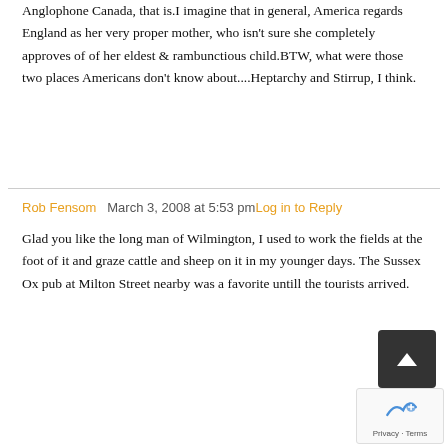Anglophone Canada, that is.I imagine that in general, America regards England as her very proper mother, who isn't sure she completely approves of of her eldest & rambunctious child.BTW, what were those two places Americans don't know about....Heptarchy and Stirrup, I think.
Rob Fensom   March 3, 2008 at 5:53 pm   Log in to Reply
Glad you like the long man of Wilmington, I used to work the fields at the foot of it and graze cattle and sheep on it in my younger days. The Sussex Ox pub at Milton Street nearby was a favorite untill the tourists arrived.